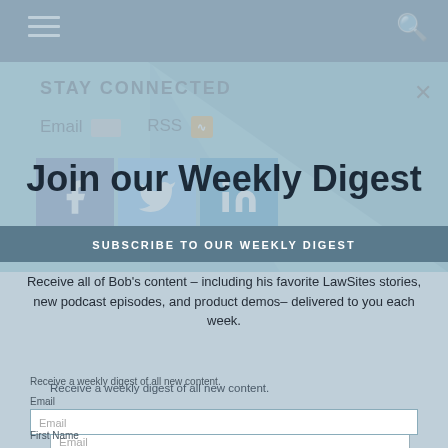STAY CONNECTED
Email   RSS
[Figure (illustration): Facebook, Twitter, LinkedIn social media icons]
Join our Weekly Digest
SUBSCRIBE TO OUR WEEKLY DIGEST
Receive all of Bob's content – including his favorite LawSites stories, new podcast episodes, and product demos– delivered to you each week.
Receive a weekly digest of all new content.
Email
Email
First Name
Subscribe
Last name